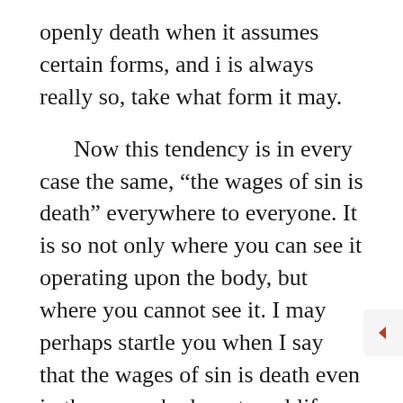openly death when it assumes certain forms, and i is always really so, take what form it may.

Now this tendency is in every case the same, “the wages of sin is death” everywhere to everyone. It is so not only where you can see it operating upon the body, but where you cannot see it. I may perhaps startle you when I say that the wages of sin is death even in the man who has eternal life. Sin has the same deadly character to one as to the other, only an antidote is found. You, my Christian